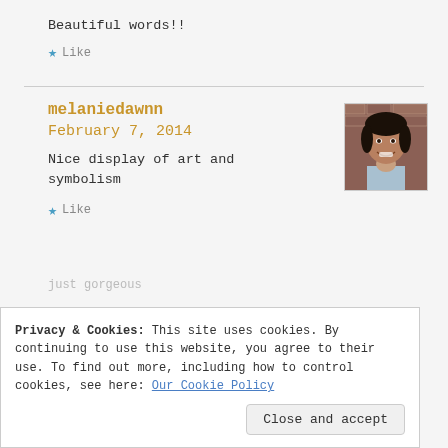Beautiful words!!
★ Like
melaniedawnn
February 7, 2014
[Figure (photo): Profile photo of a smiling woman with dark hair, wearing a light blue top, with a brick wall background.]
Nice display of art and symbolism
★ Like
Privacy & Cookies: This site uses cookies. By continuing to use this website, you agree to their use. To find out more, including how to control cookies, see here: Our Cookie Policy
Close and accept
just gorgeous